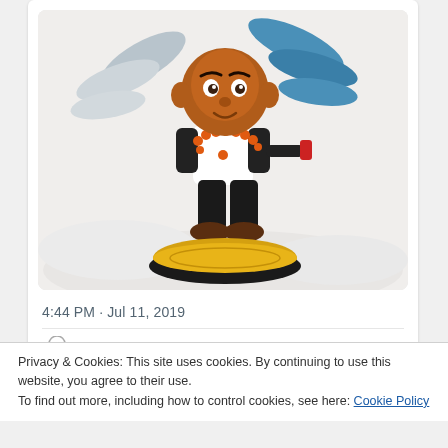[Figure (photo): A Nintendo Mii amiibo figurine with brown skin, orange bead necklace, white shirt, black pants, and brown shoes, standing on a gold and black circular base against a white fluffy background. The figure has wings emerging from behind it.]
4:44 PM · Jul 11, 2019
Privacy & Cookies: This site uses cookies. By continuing to use this website, you agree to their use.
To find out more, including how to control cookies, see here: Cookie Policy